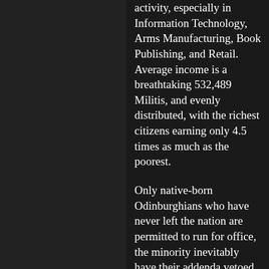activity, especially in Information Technology, Arms Manufacturing, Book Publishing, and Retail. Average income is a breathtaking 532,489 Militis, and evenly distributed, with the richest citizens earning only 4.5 times as much as the poorest.
Only native-born Odinburghians who have never left the nation are permitted to run for office, the minority inevitably have their addenda vetoed, elections have become procedural nightmares due to